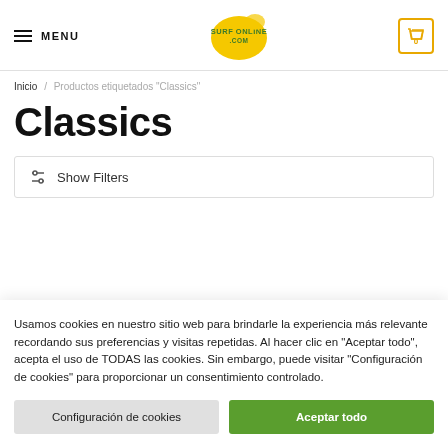MENU | SURF ONLINE | 0
Inicio / Productos etiquetados "Classics"
Classics
⧉ Show Filters
Usamos cookies en nuestro sitio web para brindarle la experiencia más relevante recordando sus preferencias y visitas repetidas. Al hacer clic en "Aceptar todo", acepta el uso de TODAS las cookies. Sin embargo, puede visitar "Configuración de cookies" para proporcionar un consentimiento controlado.
Configuración de cookies | Aceptar todo